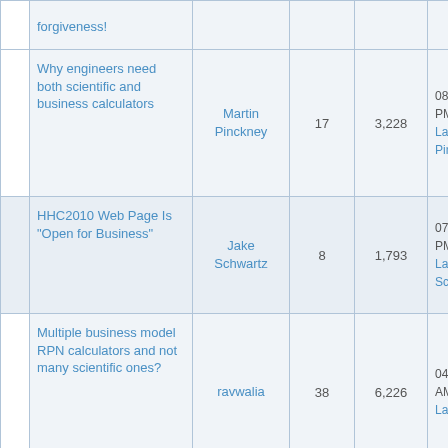|  | Topic | Author | Replies | Views | Last Post |
| --- | --- | --- | --- | --- | --- |
|  | forgiveness! |  |  |  |  |
|  | Why engineers need both scientific and business calculators | Martin Pinckney | 17 | 3,228 | 08-21-2010, 08:45 PM
Last Post: Martin Pinckney |
|  | HHC2010 Web Page Is "Open for Business" | Jake Schwartz | 8 | 1,793 | 07-16-2010, 11:27 PM
Last Post: Jake Schwartz |
|  | Multiple business model RPN calculators and not many scientific ones? | ravwalia | 38 | 6,226 | 04-23-2010, 02:10 AM
Last Post: DaveJ |
|  | HP 30b Business Professional | Gerardo Rincon | 2 | 806 | 03-13-2010, 01:16 AM
Last Post: Gerardo Rincon |